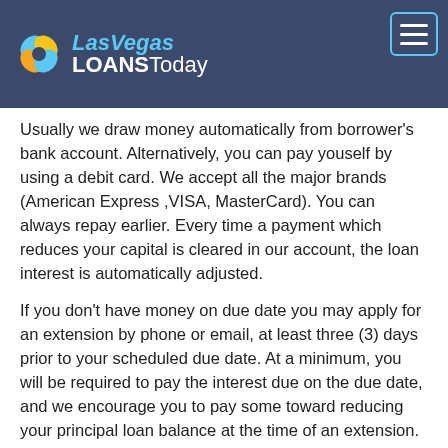[Figure (logo): Las Vegas Loans Today logo with colorful clover icon and text on dark blue background, with hamburger menu button in top right corner]
Usually we draw money automatically from borrower's bank account. Alternatively, you can pay youself by using a debit card. We accept all the major brands (American Express ,VISA, MasterCard). You can always repay earlier. Every time a payment which reduces your capital is cleared in our account, the loan interest is automatically adjusted.
If you don't have money on due date you may apply for an extension by phone or email, at least three (3) days prior to your scheduled due date. At a minimum, you will be required to pay the interest due on the due date, and we encourage you to pay some toward reducing your principal loan balance at the time of an extension. If you do pay extra toward principal, you'll reduce the amount of interest you would otherwise pay.